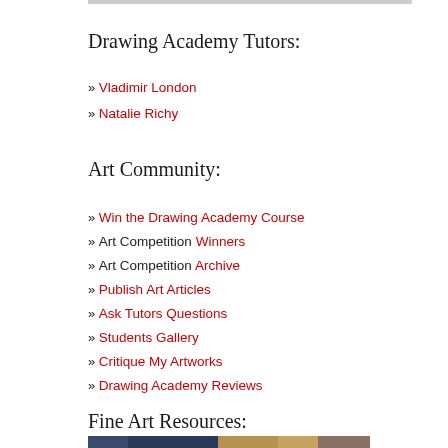Drawing Academy Tutors:
» Vladimir London
» Natalie Richy
Art Community:
» Win the Drawing Academy Course
» Art Competition Winners
» Art Competition Archive
» Publish Art Articles
» Ask Tutors Questions
» Students Gallery
» Critique My Artworks
» Drawing Academy Reviews
Fine Art Resources:
[Figure (photo): Fine art painting showing Gothic architectural arches on the left and a portrait of a woman with red braided hair on the right]